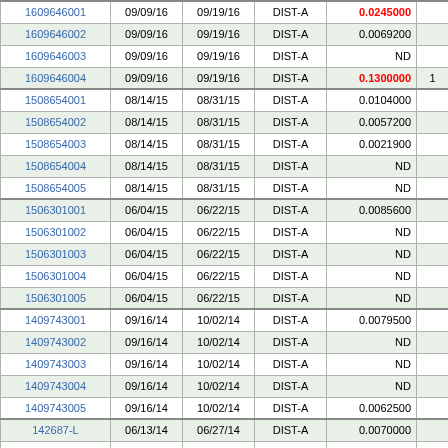| ID | Date1 | Date2 | Type | Value |  |
| --- | --- | --- | --- | --- | --- |
| 1609646001 | 09/09/16 | 09/19/16 | DIST-A | 0.0245000 |  |
| 1609646002 | 09/09/16 | 09/19/16 | DIST-A | 0.0069200 |  |
| 1609646003 | 09/09/16 | 09/19/16 | DIST-A | ND |  |
| 1609646004 | 09/09/16 | 09/19/16 | DIST-A | 0.1300000 | 1 |
| 1508654001 | 08/14/15 | 08/31/15 | DIST-A | 0.0104000 |  |
| 1508654002 | 08/14/15 | 08/31/15 | DIST-A | 0.0057200 |  |
| 1508654003 | 08/14/15 | 08/31/15 | DIST-A | 0.0021900 |  |
| 1508654004 | 08/14/15 | 08/31/15 | DIST-A | ND |  |
| 1508654005 | 08/14/15 | 08/31/15 | DIST-A | ND |  |
| 1506301001 | 06/04/15 | 06/22/15 | DIST-A | 0.0085600 |  |
| 1506301002 | 06/04/15 | 06/22/15 | DIST-A | ND |  |
| 1506301003 | 06/04/15 | 06/22/15 | DIST-A | ND |  |
| 1506301004 | 06/04/15 | 06/22/15 | DIST-A | ND |  |
| 1506301005 | 06/04/15 | 06/22/15 | DIST-A | ND |  |
| 1409743001 | 09/16/14 | 10/02/14 | DIST-A | 0.0079500 |  |
| 1409743002 | 09/16/14 | 10/02/14 | DIST-A | ND |  |
| 1409743003 | 09/16/14 | 10/02/14 | DIST-A | ND |  |
| 1409743004 | 09/16/14 | 10/02/14 | DIST-A | ND |  |
| 1409743005 | 09/16/14 | 10/02/14 | DIST-A | 0.0062500 |  |
| 142687-L | 06/13/14 | 06/27/14 | DIST-A | 0.0070000 |  |
| 142688-L | 06/13/14 | 06/27/14 | DIST-A | 0.0060000 |  |
| 142689-L | 06/13/14 | 06/27/14 | DIST-A | ND |  |